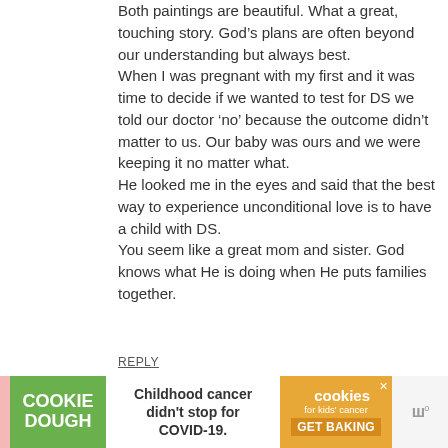Both paintings are beautiful. What a great, touching story. God's plans are often beyond our understanding but always best.
When I was pregnant with my first and it was time to decide if we wanted to test for DS we told our doctor 'no' because the outcome didn't matter to us. Our baby was ours and we were keeping it no matter what.
He looked me in the eyes and said that the best way to experience unconditional love is to have a child with DS.
You seem like a great mom and sister. God knows what He is doing when He puts families together.
REPLY
[Figure (infographic): Advertisement banner for Cookie Dough / Cookies for Kids' Cancer. Left green section reads 'COOKIE DOUGH', center white section reads 'Childhood cancer didn't stop for COVID-19.', right orange section shows 'cookies for kids' cancer' logo and 'GET BAKING' call to action. Far right shows a website logo.]